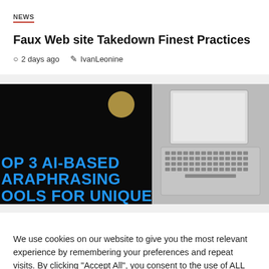NEWS
Faux Web site Takedown Finest Practices
2 days ago   IvanLeonine
[Figure (screenshot): Dark background image with blue bold text reading 'OP 3 AI-BASED ARAPHRASING OOLS FOR UNIQUE' and a gold circle accent; right half shows a grayscale laptop keyboard photo]
We use cookies on our website to give you the most relevant experience by remembering your preferences and repeat visits. By clicking "Accept All", you consent to the use of ALL the cookies. However, you may visit "Cookie Settings" to provide a controlled consent.
Cookie Settings   Accept All